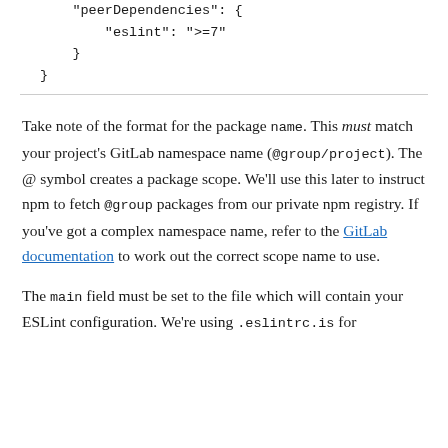"peerDependencies": {
        "eslint": ">=7"
    }
}
Take note of the format for the package name. This must match your project's GitLab namespace name (@group/project). The @ symbol creates a package scope. We'll use this later to instruct npm to fetch @group packages from our private npm registry. If you've got a complex namespace name, refer to the GitLab documentation to work out the correct scope name to use.
The main field must be set to the file which will contain your ESLint configuration. We're using .eslintrc.is for